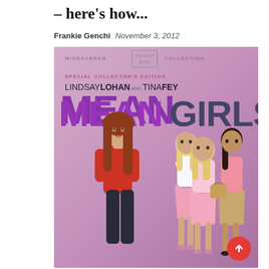– here's how...
Frankie Genchi  November 3, 2012
[Figure (photo): DVD cover of Mean Girls (Widescreen Collection, Special Collector's Edition) featuring Lindsay Lohan and Tina Fey. Shows Lindsay Lohan in red top on the left, and three other women (The Plastics) in pink outfits on the right, against a pink/purple background. Title 'MEAN GIRLS' in large purple and dark blue text.]